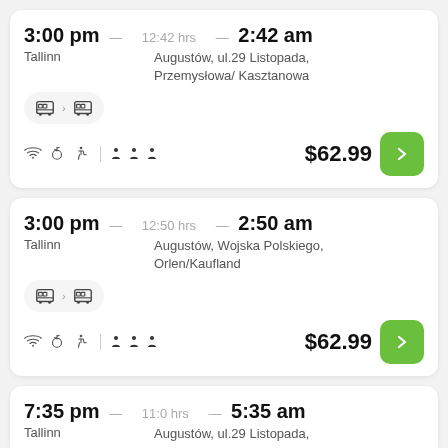3:00 pm — 12:42 hrs — 2:42 am
Tallinn
Augustów, ul.29 Listopada, Przemysłowa/ Kasztanowa
$62.99
3:00 pm — 12:50 hrs — 2:50 am
Tallinn
Augustów, Wojska Polskiego, Orlen/Kaufland
$62.99
7:35 pm — 11:0 hrs — 5:35 am
Tallinn
Augustów, ul.29 Listopada,